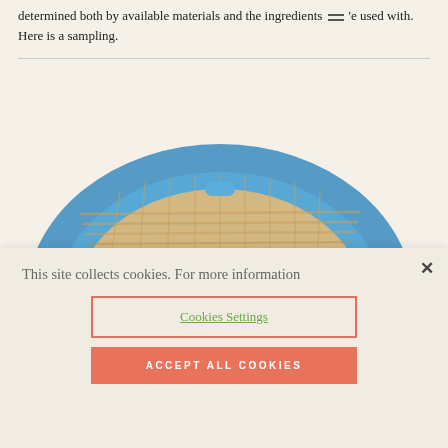determined both by available materials and the ingredients ’e used with. Here is a sampling.
[Figure (photo): Partial view of a blue-rimmed woven basket or plate with tan/beige woven interior, photographed from above on a cream background.]
This site collects cookies. For more information
Cookies Settings
ACCEPT ALL COOKIES